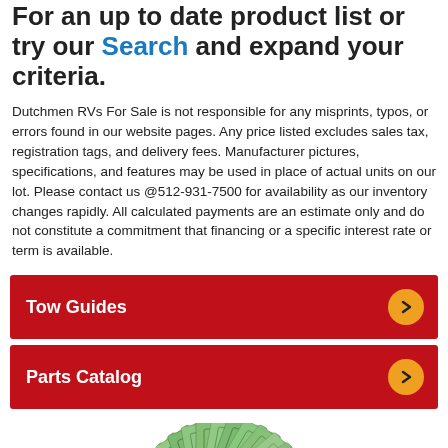For an up to date product list or try our Search and expand your criteria.
Dutchmen RVs For Sale is not responsible for any misprints, typos, or errors found in our website pages. Any price listed excludes sales tax, registration tags, and delivery fees. Manufacturer pictures, specifications, and features may be used in place of actual units on our lot. Please contact us @512-931-7500 for availability as our inventory changes rapidly. All calculated payments are an estimate only and do not constitute a commitment that financing or a specific interest rate or term is available.
Tow Guides
Parts Catalog
[Figure (illustration): Fan of US dollar bills fanned out]